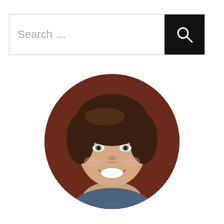[Figure (other): Search bar with text input area showing 'Search ...' placeholder and a black search button with magnifying glass icon on the right]
[Figure (photo): Circular cropped headshot photo of a smiling woman with dark brown hair, light eyes, wearing a denim shirt, set against a dark reddish-brown background]
I am Alison. Cooking is my hobby and it comes naturally to me. From new recipes to experimenting with flavors, I am always looking for new ways to put my